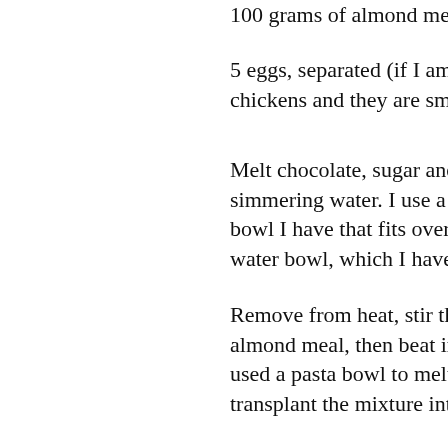100 grams of almond meal
5 eggs, separated (if I am using eggs from N's chickens and they are small, I use 6)
Melt chocolate, sugar and butter in a bowl sitting simmering water. I use a pasta bowl because it bowl I have that fits over the saucepan (other t water bowl, which I have been forbidden from u
Remove from heat, stir thoroughly to combine, almond meal, then beat in the egg yolks, one b used a pasta bowl to melt the chocolate, you m transplant the mixture into something bigger to
Beat egg whites until stiff and peaky. The bowl absolutely clean to begin with to do this. Stir a spoonfuls of egg white into the chocolate mixtu it, before gently folding in the rest.
Turn into a buttered and floured 20cm round ca bake at 180 for 40-50 minutes, depending on y whether you like a more muddy or crumby cake minutes and rotate the pan halfway.
Leave to cool before removing from tin. Dust w sugar to serve with sparklers and a round of H